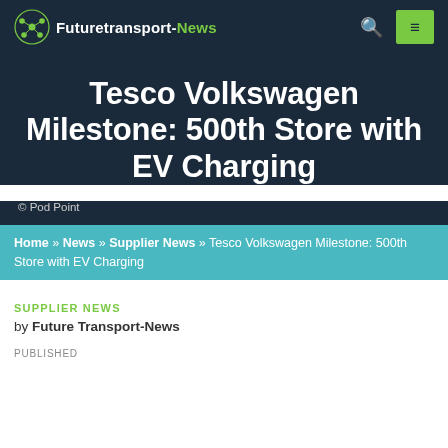Futuretransport-News
Tesco Volkswagen Milestone: 500th Store with EV Charging
© Pod Point
Home » News » Supplier News » Tesco Volkswagen Milestone: 500th Store with EV Charging
SUPPLIER NEWS
by Future Transport-News
PUBLISHED